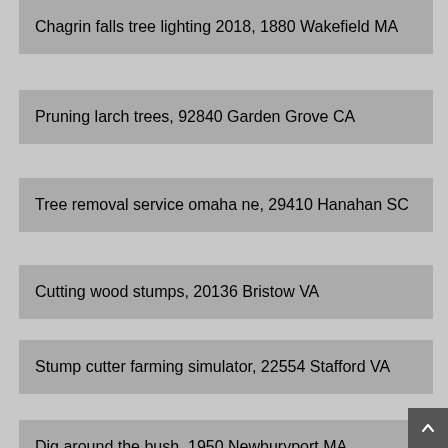Chagrin falls tree lighting 2018, 1880 Wakefield MA
Pruning larch trees, 92840 Garden Grove CA
Tree removal service omaha ne, 29410 Hanahan SC
Cutting wood stumps, 20136 Bristow VA
Stump cutter farming simulator, 22554 Stafford VA
Dig around the bush, 1950 Newburyport MA
Why are mangrove trees being removed, 1901 Lynn MA